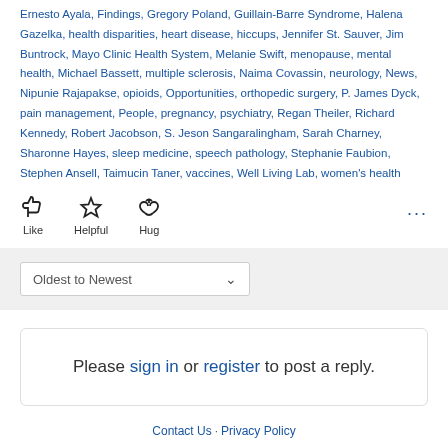Ernesto Ayala, Findings, Gregory Poland, Guillain-Barre Syndrome, Halena Gazelka, health disparities, heart disease, hiccups, Jennifer St. Sauver, Jim Buntrock, Mayo Clinic Health System, Melanie Swift, menopause, mental health, Michael Bassett, multiple sclerosis, Naima Covassin, neurology, News, Nipunie Rajapakse, opioids, Opportunities, orthopedic surgery, P. James Dyck, pain management, People, pregnancy, psychiatry, Regan Theiler, Richard Kennedy, Robert Jacobson, S. Jeson Sangaralingham, Sarah Charney, Sharonne Hayes, sleep medicine, speech pathology, Stephanie Faubion, Stephen Ansell, Taimucin Taner, vaccines, Well Living Lab, women's health
[Figure (infographic): Reaction buttons: Like (thumbs up icon), Helpful (star icon), Hug (hands with heart icon), and a more options ellipsis button]
[Figure (screenshot): Sort dropdown selector showing 'Oldest to Newest' option]
Please sign in or register to post a reply.
Contact Us · Privacy Policy